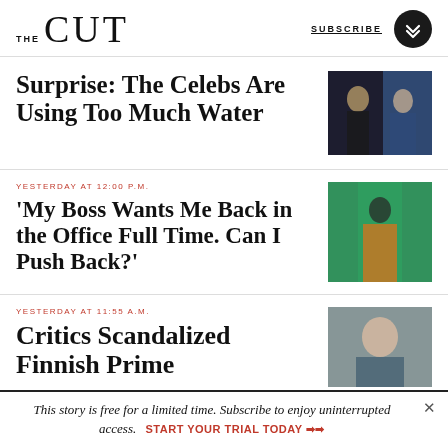THE CUT | SUBSCRIBE
Surprise: The Celebs Are Using Too Much Water
YESTERDAY AT 12:00 P.M.
'My Boss Wants Me Back in the Office Full Time. Can I Push Back?'
YESTERDAY AT 11:55 A.M.
Critics Scandalized Finnish Prime
This story is free for a limited time. Subscribe to enjoy uninterrupted access. START YOUR TRIAL TODAY ➤➤